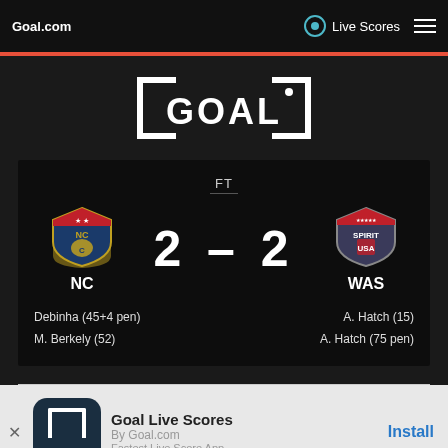Goal.com | Live Scores
[Figure (logo): GOAL logo in white text on black background with bracket/goal-post frame]
[Figure (infographic): Match score card: NC Courage vs Washington Spirit, FT 2-2. NC scorers: Debinha (45+4 pen), M. Berkely (52). WAS scorers: A. Hatch (15), A. Hatch (75 pen)]
Goal Live Scores
By Goal.com
Fastest Live Score App
Install